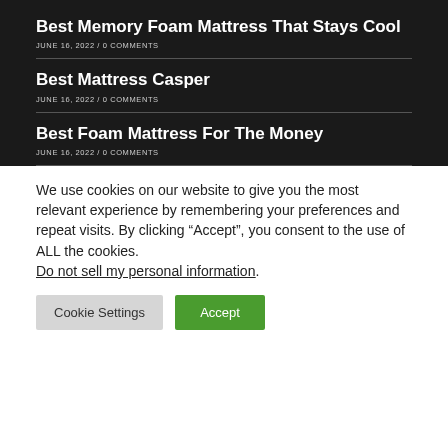Best Memory Foam Mattress That Stays Cool
JUNE 16, 2022 / 0 COMMENTS
Best Mattress Casper
JUNE 16, 2022 / 0 COMMENTS
Best Foam Mattress For The Money
JUNE 16, 2022 / 0 COMMENTS
We use cookies on our website to give you the most relevant experience by remembering your preferences and repeat visits. By clicking “Accept”, you consent to the use of ALL the cookies. Do not sell my personal information.
Cookie Settings
Accept